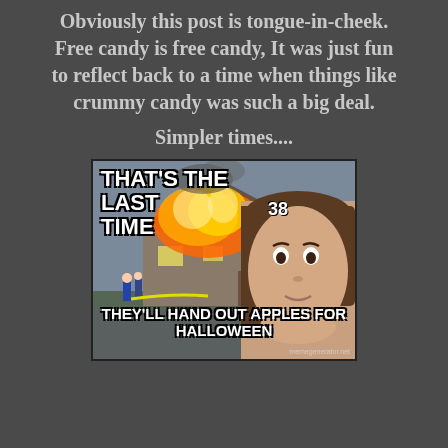Obviously this post is tongue-in-cheek. Free candy is free candy, It was just fun to reflect back to a time when things like crummy candy was such a big deal.
Simpler times....
[Figure (illustration): Disaster Girl meme: a girl with a devious smirk stands in the foreground while a house burns in the background with firefighters visible. Top text: THAT'S THE LAST TIME with number 38. Bottom text: THEY'LL HAND OUT APPLES FOR HALLOWEEN. Watermark: memegenerator.net]